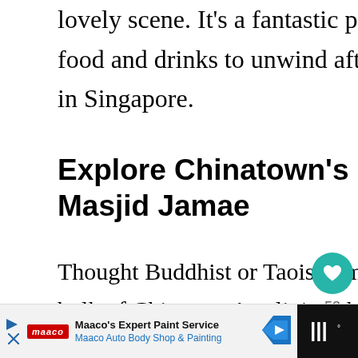lovely scene. It's a fantastic place to enjoy some food and drinks to unwind after a day of sightseeing in Singapore.
Explore Chinatown's Muslim culture at Masjid Jamae
Thought Buddhist or Taoist temples would comprise the bulk of Chinatown's religious buildings? Masjid Jamae, like its Hindu temple neighbour, throws a wrench into the
[Figure (other): Heart/like button showing 53 likes, and a share button]
[Figure (other): WHAT'S NEXT callout showing Best Things to Do In Xian:... with thumbnail image]
[Figure (other): Maaco advertisement banner: Maaco's Expert Paint Service, Maaco Auto Body Shop & Painting]